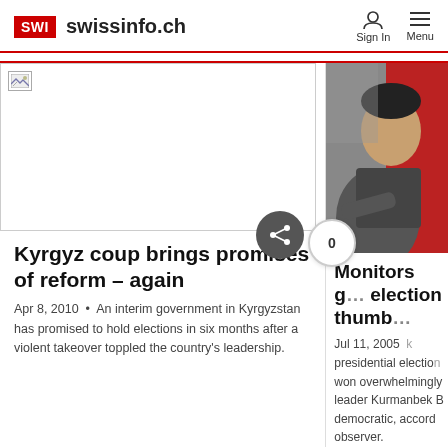SWI swissinfo.ch — Sign In  Menu
[Figure (screenshot): Broken image placeholder (left article thumbnail)]
[Figure (photo): Photo of a man in a suit seated at a table, pointing, with a red background — right column article image]
Kyrgyz coup brings promises of reform – again
Apr 8, 2010  •  An interim government in Kyrgyzstan has promised to hold elections in six months after a violent takeover toppled the country's leadership.
Monitors g… election thumb…
Jul 11, 2005  presidential election won overwhelmingly leader Kurmanbek B democratic, accord observer.